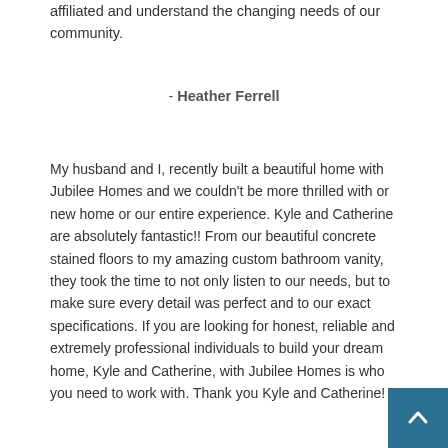affiliated and understand the changing needs of our community.
- Heather Ferrell
My husband and I, recently built a beautiful home with Jubilee Homes and we couldn't be more thrilled with or new home or our entire experience. Kyle and Catherine are absolutely fantastic!! From our beautiful concrete stained floors to my amazing custom bathroom vanity, they took the time to not only listen to our needs, but to make sure every detail was perfect and to our exact specifications. If you are looking for honest, reliable and extremely professional individuals to build your dream home, Kyle and Catherine, with Jubilee Homes is who you need to work with. Thank you Kyle and Catherine!